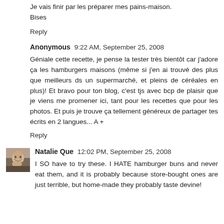Je vais finir par les préparer mes pains-maison.
Bises
Reply
Anonymous 9:22 AM, September 25, 2008
Géniale cette recette, je pense la tester très bientôt car j'adore ça les hamburgers maisons (même si j'en ai trouvé des plus que meilleurs ds un supermarché, et pleins de céréales en plus)! Et bravo pour ton blog, c'est tjs avec bcp de plaisir que je viens me promener ici, tant pour les recettes que pour les photos. Et puis je trouve ça tellement généreux de partager tes écrits en 2 langues... A +
Reply
Natalie Que 12:02 PM, September 25, 2008
I SO have to try these. I HATE hamburger buns and never eat them, and it is probably because store-bought ones are just terrible, but home-made they probably taste devine!